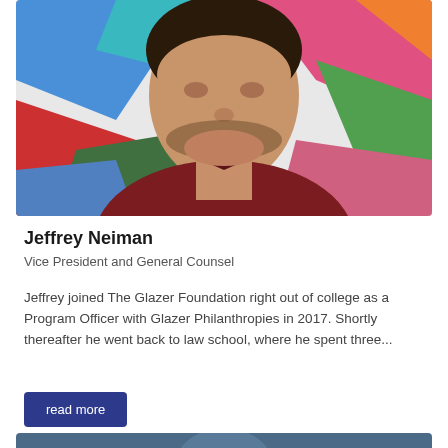[Figure (photo): Portrait photo of Jeffrey Neiman, a man with short dark beard and hair wearing a dark red/maroon v-neck shirt, standing in front of a colorful painted mural background with blues, reds, greens and pinks.]
Jeffrey Neiman
Vice President and General Counsel
Jeffrey joined The Glazer Foundation right out of college as a Program Officer with Glazer Philanthropies in 2017. Shortly thereafter he went back to law school, where he spent three...
read more
[Figure (photo): Partial portrait photo of another person, cropped at the bottom of the page, showing only the top portion of a person's head with dark hair against a blue-grey background.]